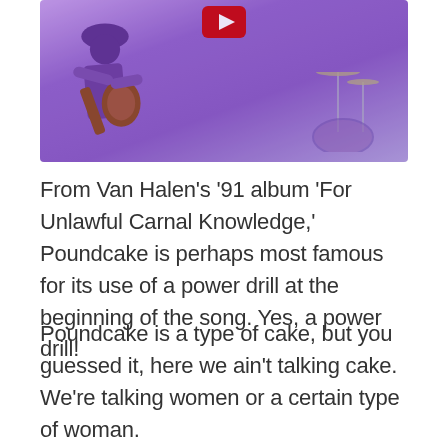[Figure (photo): Screenshot of a music video thumbnail showing an animated guitarist with purple/violet color scheme playing guitar, with a YouTube play button overlay visible at the top. Drums visible in the background right.]
From Van Halen's '91 album 'For Unlawful Carnal Knowledge,' Poundcake is perhaps most famous for its use of a power drill at the beginning of the song. Yes, a power drill!
Poundcake is a type of cake, but you guessed it, here we ain't talking cake. We're talking women or a certain type of woman.